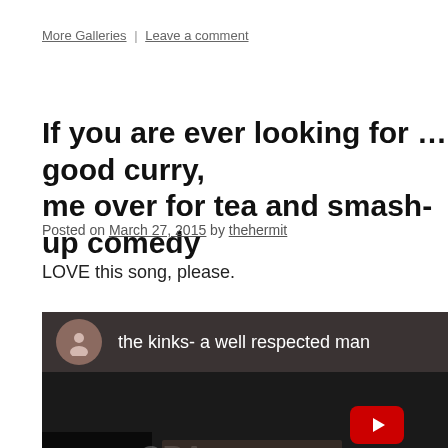More Galleries | Leave a comment
If you are ever looking for … good curry, me over for tea and smash-up comedy
Posted on March 27, 2015 by thehermit
LOVE this song, please.
[Figure (screenshot): Embedded YouTube video thumbnail showing 'the kinks- a well respected man' with a user avatar icon, dark background with partially visible band members, and a red YouTube play button.]